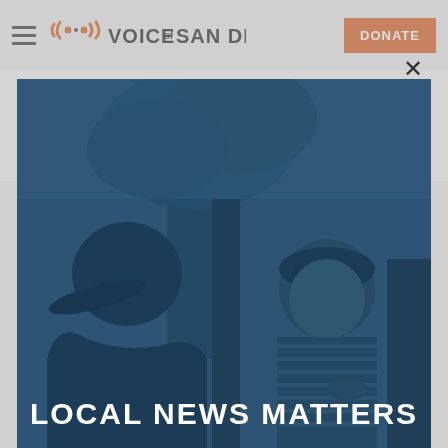Voice of San Diego | DONATE
said.
Chanin said his team believed the revisions were necessary in order to persuade SDPD to
[Figure (photo): Modal popup over article showing two people talking outdoors near a tree, with a blue tint overlay and text 'LOCAL NEWS MATTERS' at the bottom. A close (×) button is in the top right corner.]